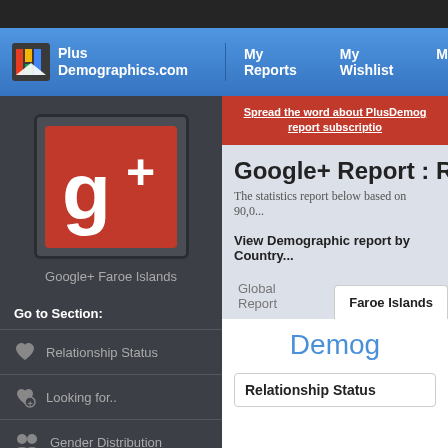PlusDemographics.com | My Reports | My Wishlist
[Figure (logo): Google+ logo square icon - red background with white g+ text]
Google+ Faroe Islands
Go to Section:
Relationship Status
Looking for..
Gender Distribution
Spread the word about PlusDemog... report subscriptio...
Google+ Report : F
The statistics report below based on 90,0...
View Demographic report by Country...
Global Report
Faroe Islands
Demog
Relationship Status